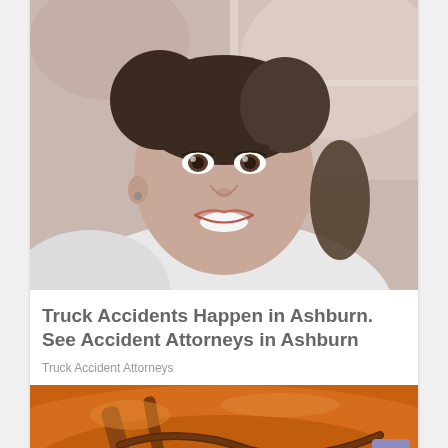[Figure (photo): Portrait photo of a young smiling woman with dark hair pulled back, wearing a white top, photographed near a window with a blurred background.]
Truck Accidents Happen in Ashburn. See Accident Attorneys in Ashburn
Truck Accident Attorneys
[Figure (photo): Close-up photo of wooden objects — appears to be a wooden steering wheel or bowl, with warm orange-brown tones.]